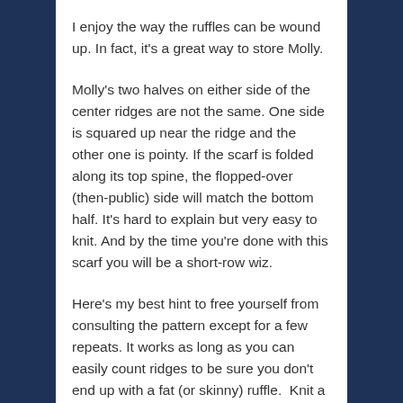I enjoy the way the ruffles can be wound up. In fact, it's a great way to store Molly.
Molly's two halves on either side of the center ridges are not the same. One side is squared up near the ridge and the other one is pointy. If the scarf is folded along its top spine, the flopped-over (then-public) side will match the bottom half. It's hard to explain but very easy to knit. And by the time you're done with this scarf you will be a short-row wiz.
Here's my best hint to free yourself from consulting the pattern except for a few repeats. It works as long as you can easily count ridges to be sure you don't end up with a fat (or skinny) ruffle.  Knit a row 1 if you see two ridges as you start the row. Knit a row 3 if you see 4 ridges.